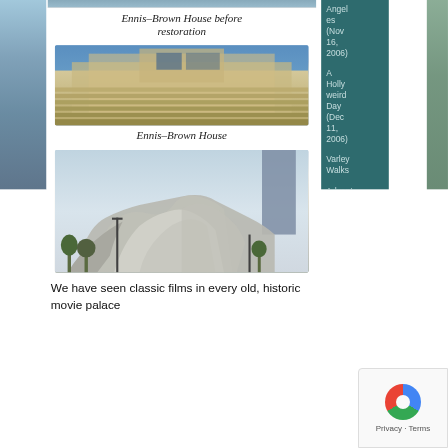[Figure (photo): Partial view of building before restoration (top of page, cropped)]
Ennis–Brown House before restoration
[Figure (photo): Ennis–Brown House, a Mayan Revival style building by Frank Lloyd Wright, viewed from below against blue sky]
Ennis–Brown House
[Figure (photo): Walt Disney Concert Hall, a modern stainless steel building with curving metallic forms and surrounding trees]
We have seen classic films in every old, historic movie palace
Angeles (Nov 16, 2006)
A Hollyweird Day (Dec 11, 2006)
Varley Walks
Adventures
Featured Video